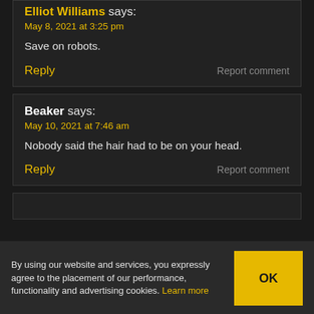Elliot Williams says: May 8, 2021 at 3:25 pm
Save on robots.
Reply | Report comment
Beaker says: May 10, 2021 at 7:46 am
Nobody said the hair had to be on your head.
Reply | Report comment
By using our website and services, you expressly agree to the placement of our performance, functionality and advertising cookies. Learn more